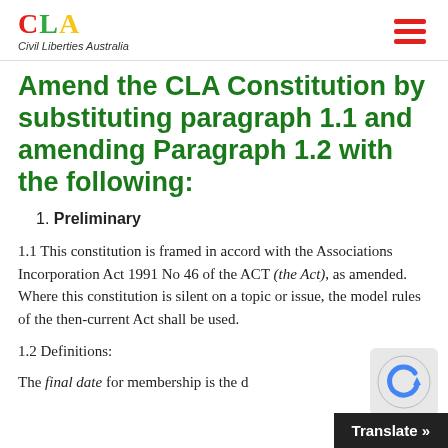CLA – Civil Liberties Australia
Amend the CLA Constitution by substituting paragraph 1.1 and amending Paragraph 1.2 with the following:
1. Preliminary
1.1 This constitution is framed in accord with the Associations Incorporation Act 1991 No 46 of the ACT (the Act), as amended. Where this constitution is silent on a topic or issue, the model rules of the then-current Act shall be used.
1.2 Definitions:
The final date for membership is the d…